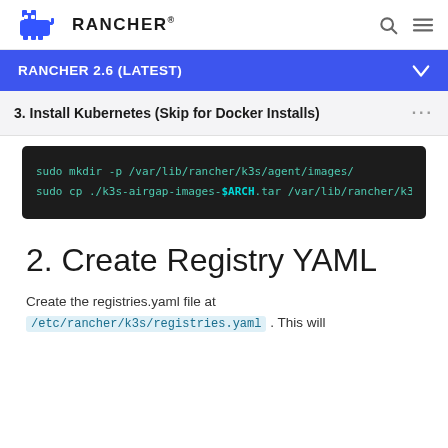RANCHER
RANCHER 2.6 (LATEST)
3. Install Kubernetes (Skip for Docker Installs)
sudo mkdir -p /var/lib/rancher/k3s/agent/images/
sudo cp ./k3s-airgap-images-$ARCH.tar /var/lib/rancher/k3
2. Create Registry YAML
Create the registries.yaml file at /etc/rancher/k3s/registries.yaml . This will